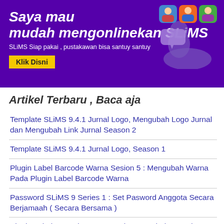[Figure (infographic): Purple banner advertisement for SLiMS online service with bold white italic text 'Saya mau mudah mengonlinekan SLiMS', subtitle 'SLiMS Siap pakai , pustakawan bisa santuy santuy', a yellow 'Klik Disni' button, and cartoon character icons on the right.]
Artikel Terbaru , Baca aja
Template SLiMS 9.4.1 Jurnal Logo, Mengubah Logo Jurnal dan Mengubah Link Jurnal Season 2
Template SLiMS 9.4.1 Jurnal Logo, Season 1
Plugin Label Barcode Warna Sesion 5 : Mengubah Warna Pada Plugin Label Barcode Warna
Password SLiMS 9 Series 1 : Set Pasword Anggota Secara Berjamaah ( Secara Bersama )
Plugin Label Barcode Warna Sesion 4 : Label Barcode Warna Kanan